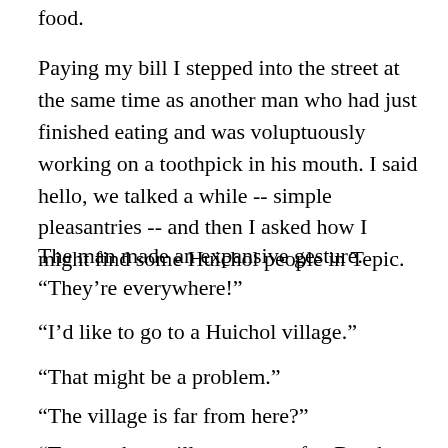food.
Paying my bill I stepped into the street at the same time as another man who had just finished eating and was voluptuously working on a toothpick in his mouth. I said hello, we talked a while -- simple pleasantries -- and then I asked how I might find some Huichol people in Tepic.
“They’re everywhere!”
“I’d like to go to a Huichol village.”
“That might be a problem.”
“The village is far from here?”
“Two or three villages -- yes, far. But they don’t want